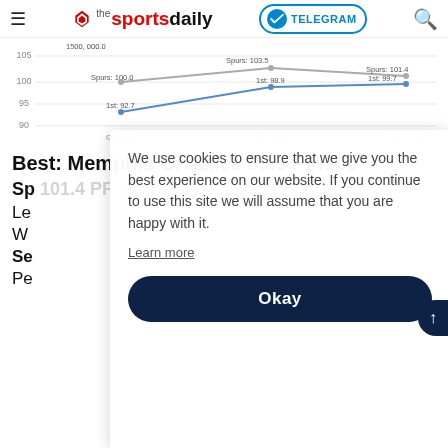the sportsdaily | TELEGRAM | Search
[Figure (continuous-plot): Partial line chart showing scoring data for teams (Spurs and 1st) across game segments GS 1-10, GS 11-20, GS 21-30. Y-axis values around 90-105. Lines show Spurs at 100.0, 103.5, 101.4 and 1st at 92.7, 98.9, 99.7.]
Best: Memphis Grizzlies 99.9 PP/100
Sp  101.4 PP/100  3rd
Le
W
Se
Pe
We use cookies to ensure that we give you the best experience on our website. If you continue to use this site we will assume that you are happy with it.
Learn more
Okay